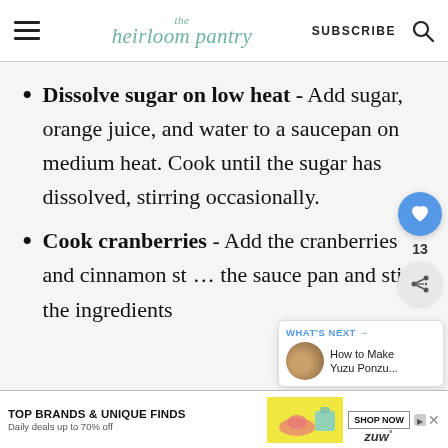the heirloom pantry | SUBSCRIBE
Dissolve sugar on low heat - Add sugar, orange juice, and water to a saucepan on medium heat. Cook until the sugar has dissolved, stirring occasionally.
Cook cranberries - Add the cranberries and cinnamon st… the sauce pan and stir the ingredients
[Figure (other): Social sidebar with heart icon (13 likes) and share button]
[Figure (other): What's Next popup showing How to Make Yuzu Ponzu...]
[Figure (other): Advertisement banner: TOP BRANDS & UNIQUE FINDS - Daily deals up to 70% off - zulily]